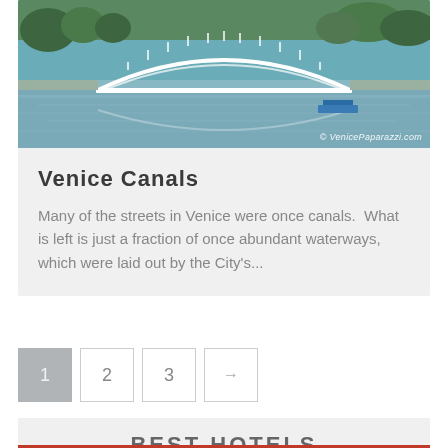[Figure (photo): Photograph of Venice Canals showing a white arched footbridge over a calm canal with trees and boats, with watermark '© VenicePaparazzi.com' in bottom right]
Venice Canals
Many of the streets in Venice were once canals.  What is left is just a fraction of once abundant waterways, which were laid out by the City's...
1  2  3  →
BEST HOTELS